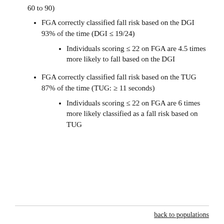60 to 90)
FGA correctly classified fall risk based on the DGI 93% of the time (DGI ≤ 19/24)
Individuals scoring ≤ 22 on FGA are 4.5 times more likely to fall based on the DGI
FGA correctly classified fall risk based on the TUG 87% of the time (TUG: ≥ 11 seconds)
Individuals scoring ≤ 22 on FGA are 6 times more likely classified as a fall risk based on TUG
back to populations